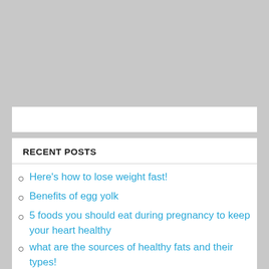[Figure (other): Gray background area at top of page]
RECENT POSTS
Here's how to lose weight fast!
Benefits of egg yolk
5 foods you should eat during pregnancy to keep your heart healthy
what are the sources of healthy fats and their types!
Discover what is the best sport with dieting and its